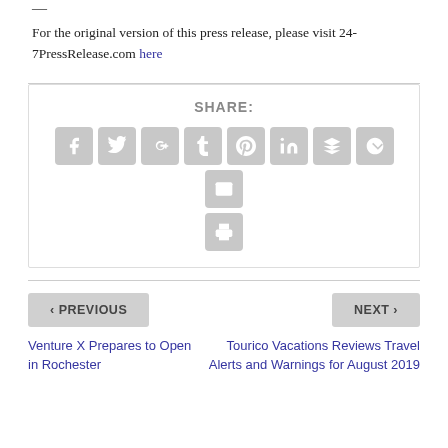— For the original version of this press release, please visit 24-7PressRelease.com here
[Figure (infographic): Social media share icons row: Facebook, Twitter, Google+, Tumblr, Pinterest, LinkedIn, Buffer, StumbleUpon, Email, and a print icon below]
SHARE:
< PREVIOUS
NEXT >
Venture X Prepares to Open in Rochester
Tourico Vacations Reviews Travel Alerts and Warnings for August 2019